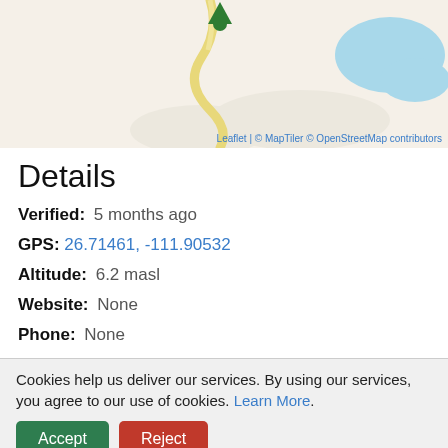[Figure (map): OpenStreetMap tile showing roads and water bodies with a green location marker pin at the top center.]
Leaflet | © MapTiler © OpenStreetMap contributors
Details
Verified: 5 months ago
GPS: 26.71461, -111.90532
Altitude: 6.2 masl
Website: None
Phone: None
Cookies help us deliver our services. By using our services, you agree to our use of cookies. Learn More.
Accept
Reject